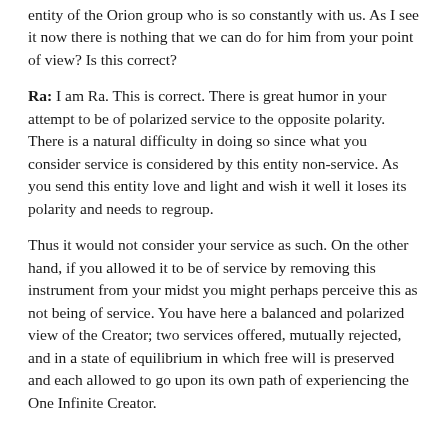entity of the Orion group who is so constantly with us. As I see it now there is nothing that we can do for him from your point of view? Is this correct?
Ra: I am Ra. This is correct. There is great humor in your attempt to be of polarized service to the opposite polarity. There is a natural difficulty in doing so since what you consider service is considered by this entity non-service. As you send this entity love and light and wish it well it loses its polarity and needs to regroup.
Thus it would not consider your service as such. On the other hand, if you allowed it to be of service by removing this instrument from your midst you might perhaps perceive this as not being of service. You have here a balanced and polarized view of the Creator; two services offered, mutually rejected, and in a state of equilibrium in which free will is preserved and each allowed to go upon its own path of experiencing the One Infinite Creator.